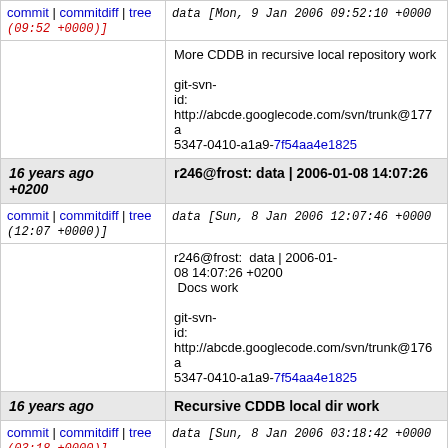commit | commitdiff | tree data [Mon, 9 Jan 2006 09:52:10 +0000 (09:52 +0000)]
More CDDB in recursive local repository work

git-svn-id: http://abcde.googlecode.com/svn/trunk@177 a5347-0410-a1a9-7f54aa4e1825
16 years ago +0200	r246@frost: data | 2006-01-08 14:07:26
commit | commitdiff | tree data [Sun, 8 Jan 2006 12:07:46 +0000 (12:07 +0000)]
r246@frost: data | 2006-01-08 14:07:26 +0200
 Docs work

git-svn-id: http://abcde.googlecode.com/svn/trunk@176 a5347-0410-a1a9-7f54aa4e1825
16 years ago	Recursive CDDB local dir work
commit | commitdiff | tree data [Sun, 8 Jan 2006 03:18:42 +0000 (03:18 +0000)]
Recursive CDDB local dir work